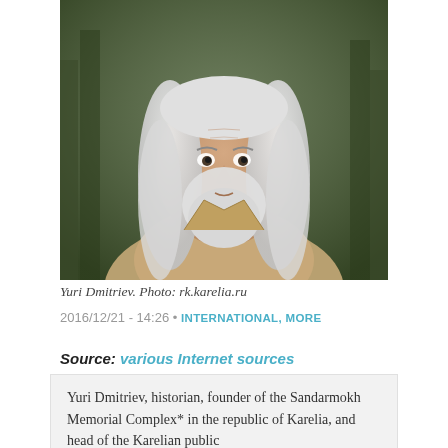[Figure (photo): Portrait photograph of Yuri Dmitriev, an older man with long white/gray hair and a beard, wearing a tan jacket, with a forest background.]
Yuri Dmitriev. Photo: rk.karelia.ru
2016/12/21 - 14:26 • INTERNATIONAL, MORE
Source: various Internet sources
Yuri Dmitriev, historian, founder of the Sandarmokh Memorial Complex* in the republic of Karelia, and head of the Karelian public